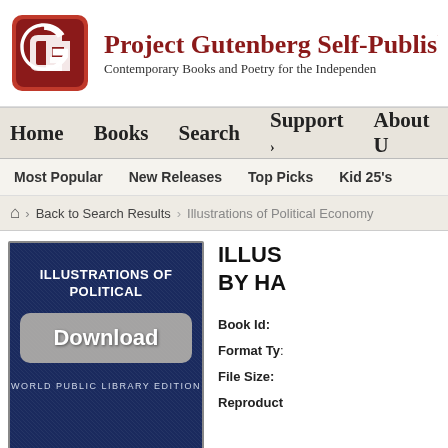[Figure (logo): Project Gutenberg red rounded square logo with white G letter]
Project Gutenberg Self-Publish
Contemporary Books and Poetry for the Independen
Home   Books   Search   Support >   About U
Most Popular   New Releases   Top Picks   Kid 25's
Home > Back to Search Results > Illustrations of Political Economy
[Figure (illustration): Book cover: dark navy blue background, 'ILLUSTRATIONS OF POLITICAL' text, large Download button overlay, 'WORLD PUBLIC LIBRARY EDITION' text at bottom]
ILLUS BY HA
Book Id:
Format Ty:
File Size:
Reproduct